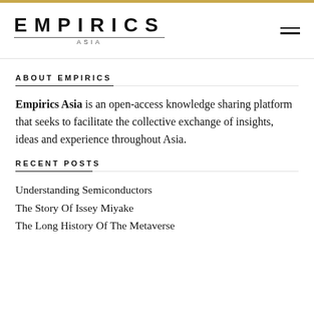EMPIRICS ASIA
ABOUT EMPIRICS
Empirics Asia is an open-access knowledge sharing platform that seeks to facilitate the collective exchange of insights, ideas and experience throughout Asia.
RECENT POSTS
Understanding Semiconductors
The Story Of Issey Miyake
The Long History Of The Metaverse